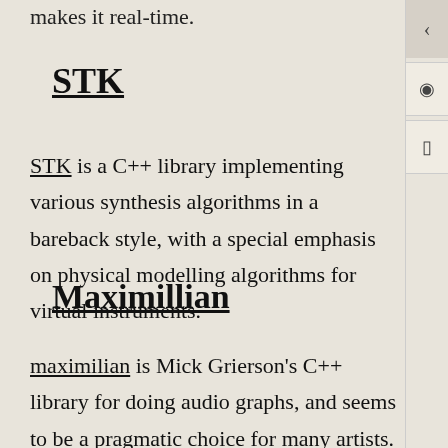makes it real-time.
STK
STK is a C++ library implementing various synthesis algorithms in a bareback style, with a special emphasis on physical modelling algorithms for virtual instruments.
Maximillian
maximilian is Mick Grierson's C++ library for doing audio graphs, and seems to be a pragmatic choice for many artists. (Direct source link)